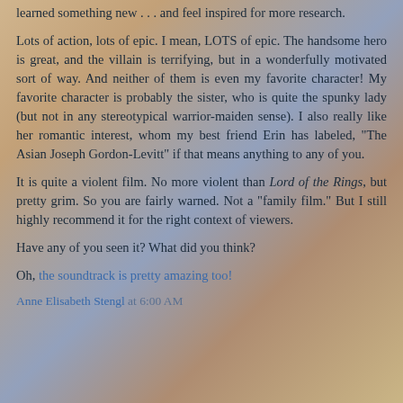learned something new . . . and feel inspired for more research.
Lots of action, lots of epic. I mean, LOTS of epic. The handsome hero is great, and the villain is terrifying, but in a wonderfully motivated sort of way. And neither of them is even my favorite character! My favorite character is probably the sister, who is quite the spunky lady (but not in any stereotypical warrior-maiden sense). I also really like her romantic interest, whom my best friend Erin has labeled, "The Asian Joseph Gordon-Levitt" if that means anything to any of you.
It is quite a violent film. No more violent than Lord of the Rings, but pretty grim. So you are fairly warned. Not a "family film." But I still highly recommend it for the right context of viewers.
Have any of you seen it? What did you think?
Oh, the soundtrack is pretty amazing too!
Anne Elisabeth Stengl at 6:00 AM